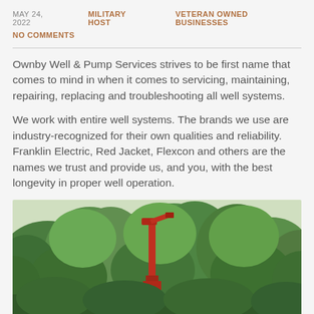MAY 24, 2022   MILITARY HOST   VETERAN OWNED BUSINESSES
NO COMMENTS
Ownby Well & Pump Services strives to be first name that comes to mind in when it comes to servicing, maintaining, repairing, replacing and troubleshooting all well systems.
We work with entire well systems. The brands we use are industry-recognized for their own qualities and reliability. Franklin Electric, Red Jacket, Flexcon and others are the names we trust and provide us, and you, with the best longevity in proper well operation.
[Figure (photo): A red well drilling rig or pump jack equipment rising above lush green trees in an outdoor setting.]